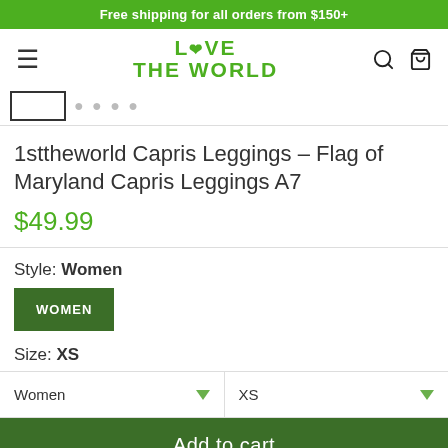Free shipping for all orders from $150+
[Figure (logo): Love The World logo with green heart]
[Figure (screenshot): Product thumbnail image strip with one selected thumbnail]
1sttheworld Capris Leggings – Flag of Maryland Capris Leggings A7
$49.99
Style: Women
WOMEN
Size: XS
Women  XS
Add to cart